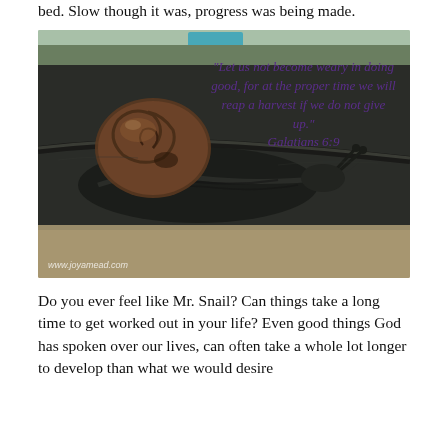bed. Slow though it was, progress was being made.
[Figure (photo): Close-up photo of a snail crawling along a stone or concrete surface. The snail has a dark brown shell and dark body. Overlaid text reads: “Let us not become weary in doing good, for at the proper time we will reap a harvest if we do not give up.” Galatians 6:9. Watermark reads www.joyamead.com]
Do you ever feel like Mr. Snail? Can things take a long time to get worked out in your life? Even good things God has spoken over our lives, can often take a whole lot longer to develop than what we would desire